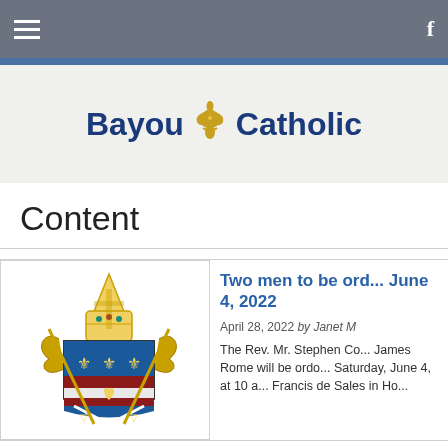Bayou Catholic
Content
[Figure (logo): Bayou Catholic website logo with blue text and gold fleur-de-lis icon]
[Figure (illustration): Diocese coat of arms / bishop's crest with miter, cross, and shield with fleur-de-lis]
Two men to be ordained June 4, 2022
April 28, 2022 by Janet M
The Rev. Mr. Stephen Co... James Rome will be orda... Saturday, June 4, at 10 a... Francis de Sales in Ho...